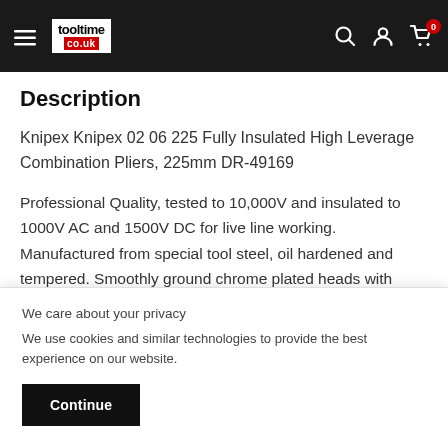tooltime.co.uk navigation bar with hamburger menu, logo, search, account, and cart (0)
Description
Knipex Knipex 02 06 225 Fully Insulated High Leverage Combination Pliers, 225mm DR-49169
Professional Quality, tested to 10,000V and insulated to 1000V AC and 1500V DC for live line working. Manufactured from special tool steel, oil hardened and tempered. Smoothly ground chrome plated heads with
We care about your privacy
We use cookies and similar technologies to provide the best experience on our website.
Continue